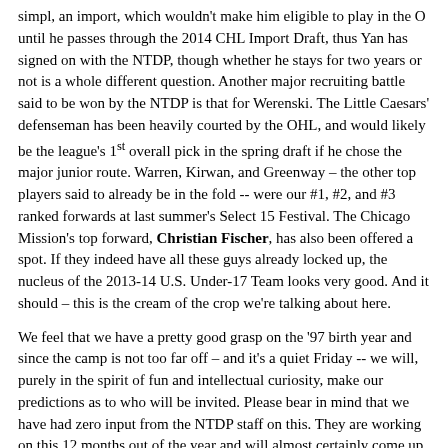simpl, an import, which wouldn't make him eligible to play in the O until he passes through the 2014 CHL Import Draft, thus Yan has signed on with the NTDP, though whether he stays for two years or not is a whole different question. Another major recruiting battle said to be won by the NTDP is that for Werenski. The Little Caesars' defenseman has been heavily courted by the OHL, and would likely be the league's 1st overall pick in the spring draft if he chose the major junior route. Warren, Kirwan, and Greenway – the other top players said to already be in the fold -- were our #1, #2, and #3 ranked forwards at last summer's Select 15 Festival. The Chicago Mission's top forward, Christian Fischer, has also been offered a spot. If they indeed have all these guys already locked up, the nucleus of the 2013-14 U.S. Under-17 Team looks very good. And it should – this is the cream of the crop we're talking about here.
We feel that we have a pretty good grasp on the '97 birth year and since the camp is not too far off – and it's a quiet Friday -- we will, purely in the spirit of fun and intellectual curiosity, make our predictions as to who will be invited. Please bear in mind that we have had zero input from the NTDP staff on this. They are working on this 12 months out of the year and will almost certainly come up with some wild cards out of nowhere. This is entirely our list, but if past is prologue, the majority of the kids we have on our list below will be in Ann Arbor at the end of March.